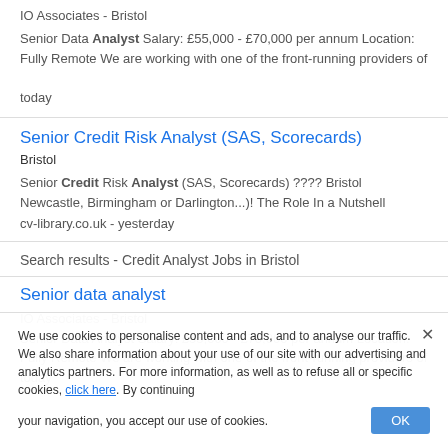IO Associates  -  Bristol
Senior Data Analyst Salary: £55,000 - £70,000 per annum Location: Fully Remote We are working with one of the front-running providers of today
Senior Credit Risk Analyst (SAS, Scorecards)
Bristol
Senior Credit Risk Analyst (SAS, Scorecards) ???? Bristol Newcastle, Birmingham or Darlington...)! The Role In a Nutshell
cv-library.co.uk  -  yesterday
Search results - Credit Analyst Jobs in Bristol
Senior data analyst
IO Associates  -  Bristol
Senior Data Analyst Salary: £55,000 - £70,000 per annum Location: Fully Remote We are working with one of the front-running providers of today
We use cookies to personalise content and ads, and to analyse our traffic. We also share information about your use of our site with our advertising and analytics partners. For more information, as well as to refuse all or specific cookies, click here. By continuing your navigation, you accept our use of cookies.